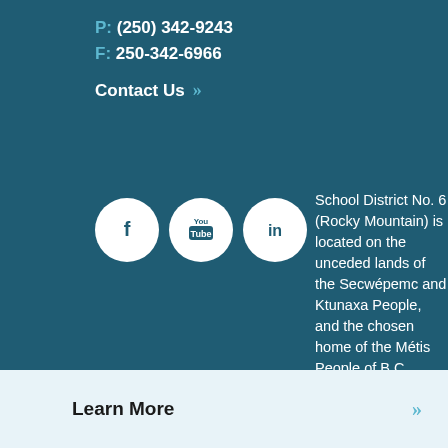P: (250) 342-9243
F: 250-342-6966
Contact Us »»
[Figure (illustration): Three social media icons in white circles on teal background: Facebook (f), YouTube (play/tube icon), LinkedIn (in)]
School District No. 6 (Rocky Mountain) is located on the unceded lands of the Secwépemc and Ktunaxa People, and the chosen home of the Métis People of B.C.
Learn More »»